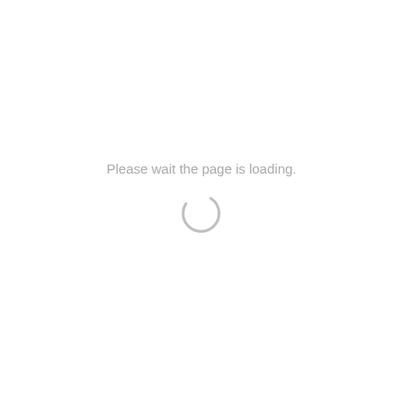Please wait the page is loading.
[Figure (other): A circular loading spinner icon rendered in light gray, showing approximately 2/3 of a circle arc suggesting a spinning animation.]